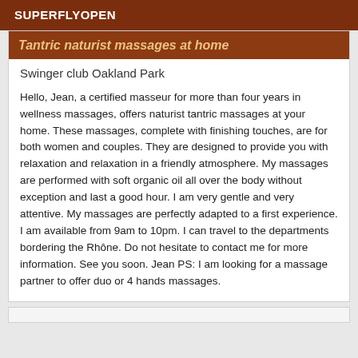SUPERFLYOPEN
Tantric naturist massages at home
Swinger club Oakland Park
Hello, Jean, a certified masseur for more than four years in wellness massages, offers naturist tantric massages at your home. These massages, complete with finishing touches, are for both women and couples. They are designed to provide you with relaxation and relaxation in a friendly atmosphere. My massages are performed with soft organic oil all over the body without exception and last a good hour. I am very gentle and very attentive. My massages are perfectly adapted to a first experience. I am available from 9am to 10pm. I can travel to the departments bordering the Rhône. Do not hesitate to contact me for more information. See you soon. Jean PS: I am looking for a massage partner to offer duo or 4 hands massages.